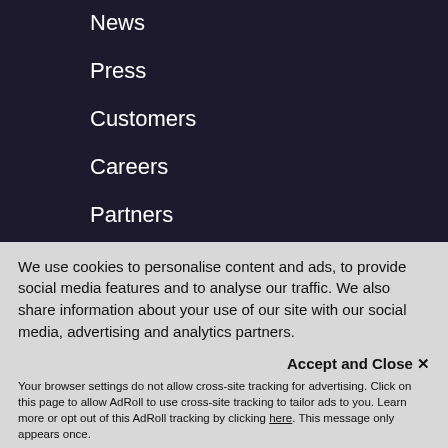News
Press
Customers
Careers
Partners
[Figure (logo): Comodo logo in red italic bold text on dark background]
Headquarters
200 Broadacres Drive,
Bloomfield, NJ 07003
United States
We use cookies to personalise content and ads, to provide social media features and to analyse our traffic. We also share information about your use of our site with our social media, advertising and analytics partners.
Accept and Close ✕
Your browser settings do not allow cross-site tracking for advertising. Click on this page to allow AdRoll to use cross-site tracking to tailor ads to you. Learn more or opt out of this AdRoll tracking by clicking here. This message only appears once.